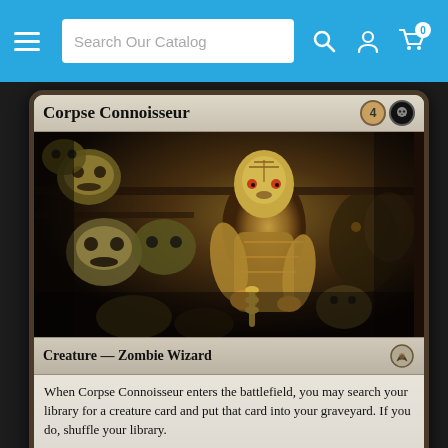Search Our Catalog
Corpse Connoisseur — 4B
[Figure (illustration): Dark fantasy art showing a skeletal/undead zombie wizard examining corpses and skulls on shelves, surrounded by other grotesque undead creatures in a macabre setting. Dark browns, yellows, and blacks dominate the palette.]
Creature — Zombie Wizard
When Corpse Connoisseur enters the battlefield, you may search your library for a creature card and put that card into your graveyard. If you do, shuffle your library.